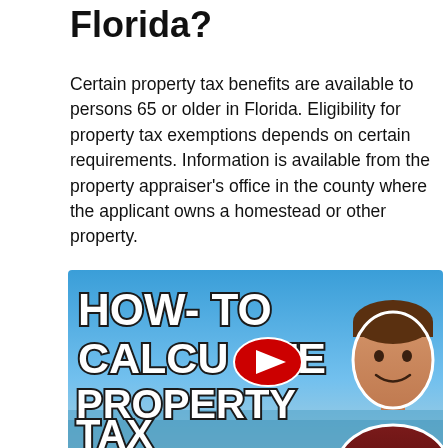Florida?
Certain property tax benefits are available to persons 65 or older in Florida. Eligibility for property tax exemptions depends on certain requirements. Information is available from the property appraiser's office in the county where the applicant owns a homestead or other property.
[Figure (screenshot): YouTube video thumbnail showing 'HOW-TO CALCULATE PROPERTY TAX' text in large cartoon-style white letters with dark outlines on a blue sky background, with a YouTube play button overlay and a man smiling on the right side]